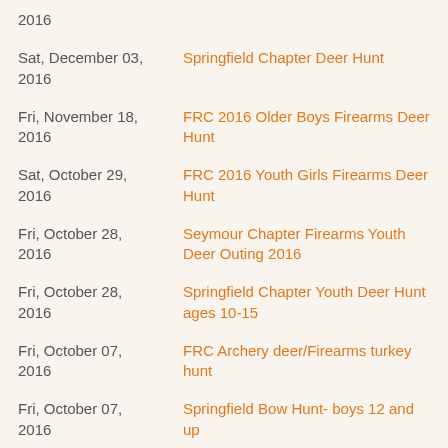2016 | Springfield Chapter Deer Hunt
Sat, December 03, 2016 | Springfield Chapter Deer Hunt
Fri, November 18, 2016 | FRC 2016 Older Boys Firearms Deer Hunt
Sat, October 29, 2016 | FRC 2016 Youth Girls Firearms Deer Hunt
Fri, October 28, 2016 | Seymour Chapter Firearms Youth Deer Outing 2016
Fri, October 28, 2016 | Springfield Chapter Youth Deer Hunt ages 10-15
Fri, October 07, 2016 | FRC Archery deer/Firearms turkey hunt
Fri, October 07, 2016 | Springfield Bow Hunt- boys 12 and up
Fri, September 30, 2016 | 2016 Seymour/FRC Daddy Daughter Archery Hunt
Fri, September 30, | Bourbon Deer Bow Hunt- boys ages